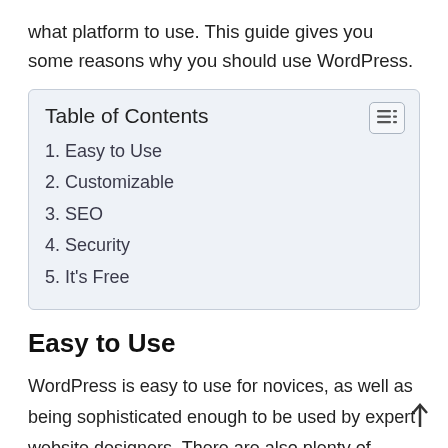what platform to use. This guide gives you some reasons why you should use WordPress.
| Table of Contents |
| --- |
| 1. Easy to Use |
| 2. Customizable |
| 3. SEO |
| 4. Security |
| 5. It's Free |
Easy to Use
WordPress is easy to use for novices, as well as being sophisticated enough to be used by expert website designers. There are also plenty of instructions and tutorials online that can help anyone who wants to know how to use WordPress. The basic functions can help